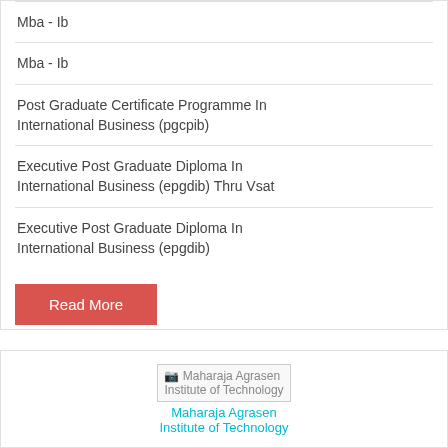Mba - Ib
Mba - Ib
Post Graduate Certificate Programme In International Business (pgcpib)
Executive Post Graduate Diploma In International Business (epgdib) Thru Vsat
Executive Post Graduate Diploma In International Business (epgdib)
Read More
[Figure (other): Maharaja Agrasen Institute of Technology logo/image placeholder with link text]